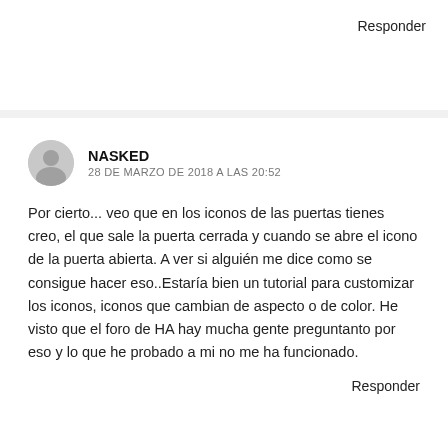Responder
NASKED
28 DE MARZO DE 2018 A LAS 20:52
Por cierto... veo que en los iconos de las puertas tienes creo, el que sale la puerta cerrada y cuando se abre el icono de la puerta abierta. A ver si alguién me dice como se consigue hacer eso..Estaría bien un tutorial para customizar los iconos, iconos que cambian de aspecto o de color. He visto que el foro de HA hay mucha gente preguntanto por eso y lo que he probado a mi no me ha funcionado.
Responder